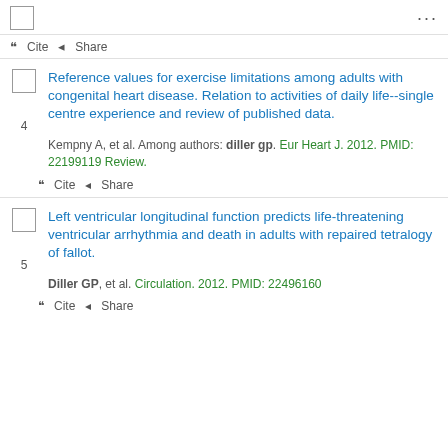" Cite < Share
4. Reference values for exercise limitations among adults with congenital heart disease. Relation to activities of daily life--single centre experience and review of published data. Kempny A, et al. Among authors: diller gp. Eur Heart J. 2012. PMID: 22199119 Review.
" Cite < Share
5. Left ventricular longitudinal function predicts life-threatening ventricular arrhythmia and death in adults with repaired tetralogy of fallot. Diller GP, et al. Circulation. 2012. PMID: 22496160
" Cite < Share